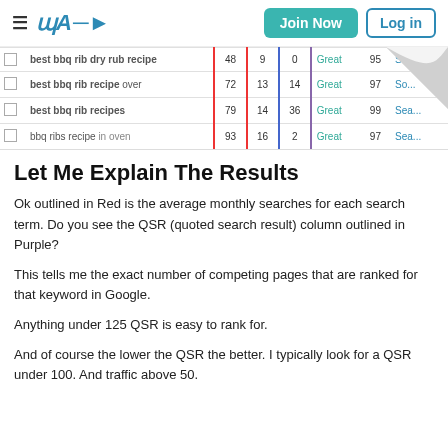WA | Join Now | Log in
|  | Keyword | Avg |  | QSR | Traffic | Score | Action |
| --- | --- | --- | --- | --- | --- | --- | --- |
|  | best bbq rib dry rub recipe | 48 | 9 | 0 | Great | 95 | Search |
|  | best bbq rib recipe over | 72 | 13 | 14 | Great | 97 | So... |
|  | best bbq rib recipes | 79 | 14 | 36 | Great | 99 | Sea... |
|  | bbq ribs recipe in oven | 93 | 16 | 2 | Great | 97 | Sea... |
Let Me Explain The Results
Ok outlined in Red is the average monthly searches for each search term. Do you see the QSR (quoted search result) column outlined in Purple?
This tells me the exact number of competing pages that are ranked for that keyword in Google.
Anything under 125 QSR is easy to rank for.
And of course the lower the QSR the better. I typically look for a QSR under 100. And traffic above 50.